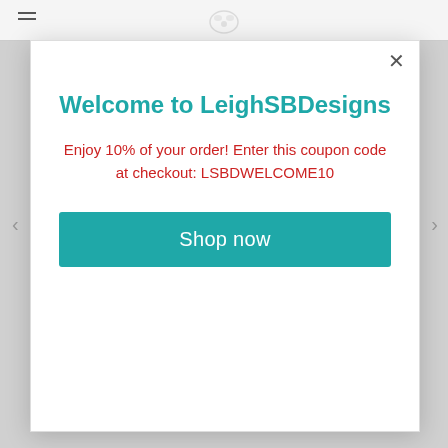[Figure (screenshot): Website header with hamburger menu icon on left and logo in center]
Welcome to LeighSBDesigns
Enjoy 10% of your order! Enter this coupon code at checkout: LSBDWELCOME10
Shop now
Snaith-Brunton